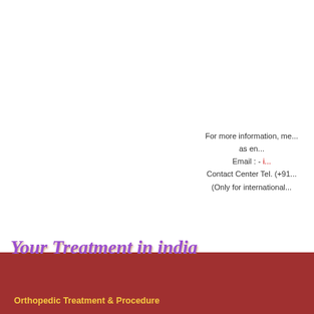For more information, me... as en... Email : - i... Contact Center Tel. (+91... (Only for international...
POPULAR LINKS
PCL Reconstruction
Mosaicpla...
Burners and Stingers
Muscle C...
Your Treatment in india
Orthopedic Treatment & Procedure